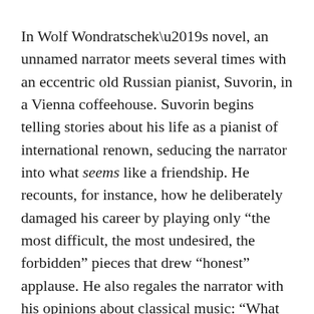In Wolf Wondratschek's novel, an unnamed narrator meets several times with an eccentric old Russian pianist, Suvorin, in a Vienna coffeehouse. Suvorin begins telling stories about his life as a pianist of international renown, seducing the narrator into what seems like a friendship. He recounts, for instance, how he deliberately damaged his career by playing only “the most difficult, the most undesired, the forbidden” pieces that drew “honest” applause. He also regales the narrator with his opinions about classical music: “What perfection is? Whoever knows it, knows nothing”; “The mortal sin with Schubert is trying to play him perfectly”; “Nowhere are there so many idiots as you get among lovers of music.” At one point